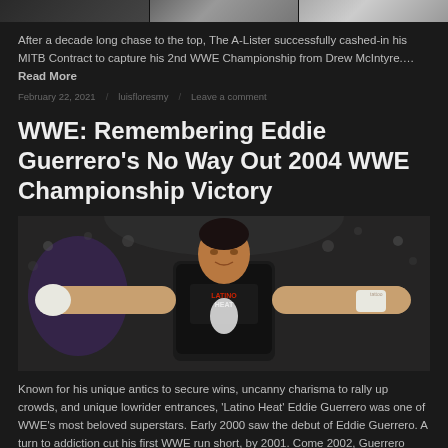[Figure (photo): Top strip showing partial wrestling/sports entertainment images cut off at top of page]
After a decade long chase to the top, The A-Lister successfully cashed-in his MITB Contract to capture his 2nd WWE Championship from Drew McIntyre.… Read More
February 22, 2021  luisfloresmy  Leave a comment
WWE: Remembering Eddie Guerrero's No Way Out 2004 WWE Championship Victory
[Figure (photo): Eddie Guerrero wearing a 'Latino Heat' black t-shirt with arms spread wide, crowd in background]
Known for his unique antics to secure wins, uncanny charisma to rally up crowds, and unique lowrider entrances, 'Latino Heat' Eddie Guerrero was one of WWE's most beloved superstars. Early 2000 saw the debut of Eddie Guerrero. A turn to addiction cut his first WWE run short, by 2001. Come 2002, Guerrero returned, teaming with… Read More
February 15, 2021  luisfloresmy  Leave a comment